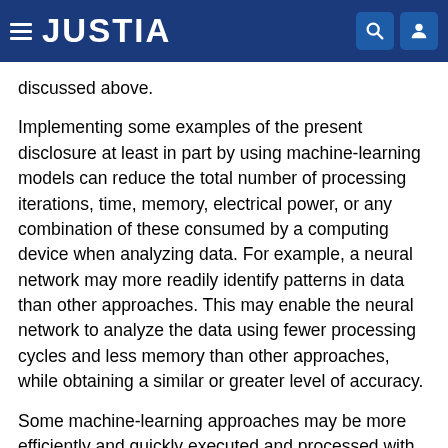JUSTIA
discussed above.
Implementing some examples of the present disclosure at least in part by using machine-learning models can reduce the total number of processing iterations, time, memory, electrical power, or any combination of these consumed by a computing device when analyzing data. For example, a neural network may more readily identify patterns in data than other approaches. This may enable the neural network to analyze the data using fewer processing cycles and less memory than other approaches, while obtaining a similar or greater level of accuracy.
Some machine-learning approaches may be more efficiently and quickly executed and processed with machine-learning specific processors (e.g., not a generic